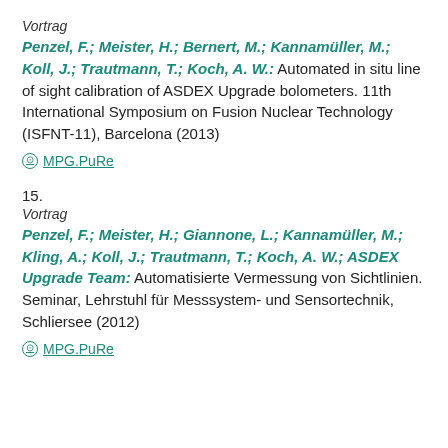Vortrag
Penzel, F.; Meister, H.; Bernert, M.; Kannamüller, M.; Koll, J.; Trautmann, T.; Koch, A. W.: Automated in situ line of sight calibration of ASDEX Upgrade bolometers. 11th International Symposium on Fusion Nuclear Technology (ISFNT-11), Barcelona (2013)
⊙ MPG.PuRe
15.
Vortrag
Penzel, F.; Meister, H.; Giannone, L.; Kannamüller, M.; Kling, A.; Koll, J.; Trautmann, T.; Koch, A. W.; ASDEX Upgrade Team: Automatisierte Vermessung von Sichtlinien. Seminar, Lehrstuhl für Messsystem- und Sensortechnik, Schliersee (2012)
⊙ MPG.PuRe